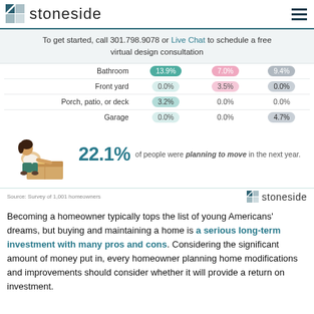stoneside
To get started, call 301.798.9078 or Live Chat to schedule a free virtual design consultation
|  |  |  |  |
| --- | --- | --- | --- |
| Bathroom | 13.9% | 7.0% | 9.4% |
| Front yard | 0.0% | 3.5% | 0.0% |
| Porch, patio, or deck | 3.2% | 0.0% | 0.0% |
| Garage | 0.0% | 0.0% | 4.7% |
[Figure (illustration): Illustration of a woman sitting next to a moving box]
22.1% of people were planning to move in the next year.
Source: Survey of 1,001 homeowners
Becoming a homeowner typically tops the list of young Americans' dreams, but buying and maintaining a home is a serious long-term investment with many pros and cons. Considering the significant amount of money put in, every homeowner planning home modifications and improvements should consider whether it will provide a return on investment.